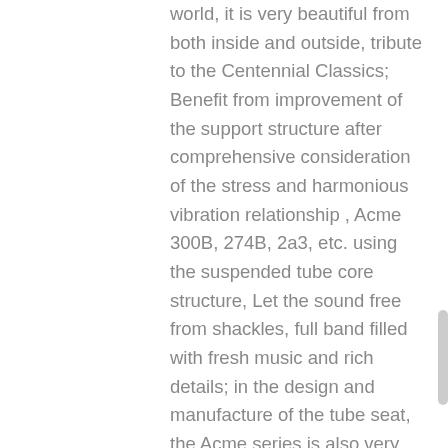world, it is very beautiful from both inside and outside, tribute to the Centennial Classics; Benefit from improvement of the support structure after comprehensive consideration of the stress and harmonious vibration relationship , Acme 300B, 274B, 2a3, etc. using the suspended tube core structure, Let the sound free from shackles, full band filled with fresh music and rich details; in the design and manufacture of the tube seat, the Acme series is also very sophisticated use of all aluminum milling technology, with Teflon pedestal to achieve the perfection of the cup-holding radian, to achieve 360 °of art precipitation beauty; even such details as small as solder, we also compare with a number of well-known brands from